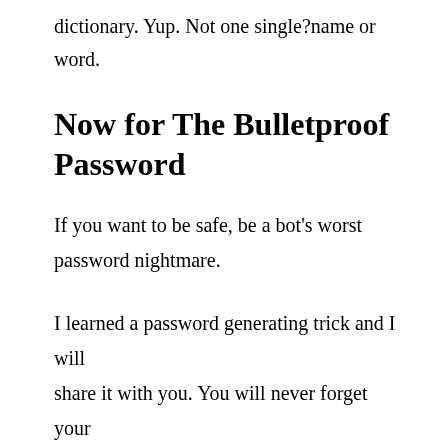dictionary. Yup. Not one single?name or word.
Now for The Bulletproof Password
If you want to be safe, be a bot's worst password nightmare.
I learned a password generating trick and I will share it with you. You will never forget your password, and a hacker will never figure it out, here's how: